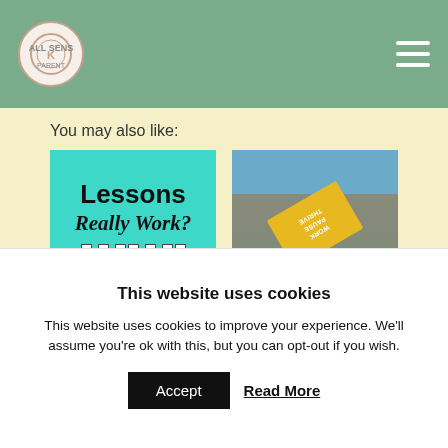Website navigation header with logo and hamburger menu
You may also like:
[Figure (photo): Graphic image with teal background and text 'Lessons Really Work?' with piano keys at bottom]
Can Online Piano Lessons Really Work?
[Figure (photo): Photo of child sitting with yellow book titled 'Work Pause Thrive' (shown upside down)]
Balancing Work and Family: 4 Things to Do Right Now
This website uses cookies
This website uses cookies to improve your experience. We'll assume you're ok with this, but you can opt-out if you wish.
Accept
Read More